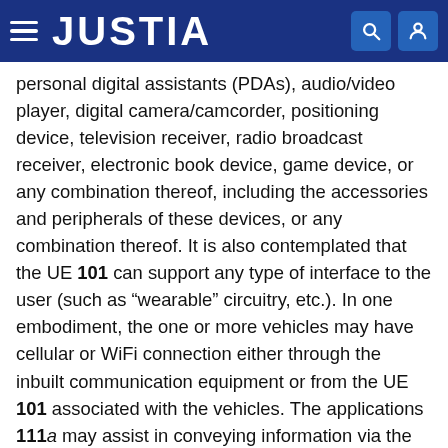JUSTIA
personal digital assistants (PDAs), audio/video player, digital camera/camcorder, positioning device, television receiver, radio broadcast receiver, electronic book device, game device, or any combination thereof, including the accessories and peripherals of these devices, or any combination thereof. It is also contemplated that the UE 101 can support any type of interface to the user (such as “wearable” circuitry, etc.). In one embodiment, the one or more vehicles may have cellular or WiFi connection either through the inbuilt communication equipment or from the UE 101 associated with the vehicles. The applications 111a may assist in conveying information via the communication network 105. In such manner, information may be shared between the at least one vehicle and the at least one UE 101, between at least one UE 101 and the at least